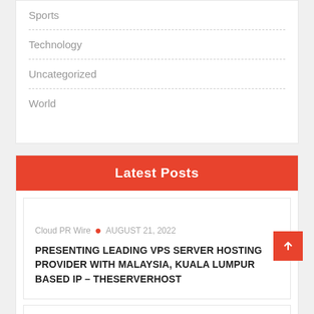Sports
Technology
Uncategorized
World
Latest Posts
Cloud PR Wire • AUGUST 21, 2022
PRESENTING LEADING VPS SERVER HOSTING PROVIDER WITH MALAYSIA, KUALA LUMPUR BASED IP – THESERVERHOST
Cloud PR Wire • AUGUST 21, 2022